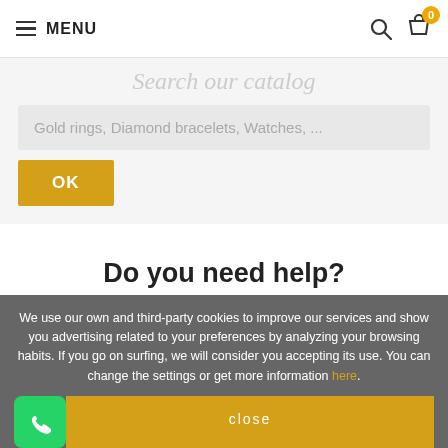MENU
Search our catalog
Gold rings, Diamond bracelets, Watches, ...
OK
Do you need help?
GO TO HOME
We use our own and third-party cookies to improve our services and show you advertising related to your preferences by analyzing your browsing habits. If you go on surfing, we will consider you accepting its use. You can change the settings or get more information here.
close